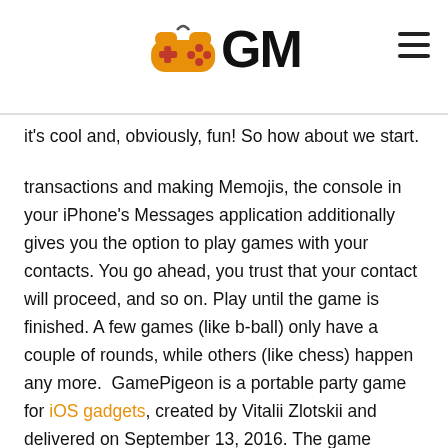GM (GameMite logo)
it's cool and, obviously, fun! So how about we start.
transactions and making Memojis, the console in your iPhone's Messages application additionally gives you the option to play games with your contacts. You go ahead, you trust that your contact will proceed, and so on. Play until the game is finished. A few games (like b-ball) only have a couple of rounds, while others (like chess) happen any more.  GamePigeon is a portable party game for iOS gadgets, created by Vitalii Zlotskii and delivered on September 13, 2016. The game exploits the iOS 10 update, which expanded how clients could communicate with Apple's Messages application.